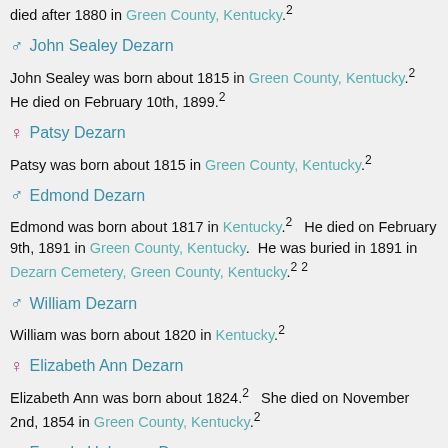died after 1880 in Green County, Kentucky.²
♂ John Sealey Dezarn
John Sealey was born about 1815 in Green County, Kentucky.²  He died on February 10th, 1899.²
♀ Patsy Dezarn
Patsy was born about 1815 in Green County, Kentucky.²
♂ Edmond Dezarn
Edmond was born about 1817 in Kentucky.²  He died on February 9th, 1891 in Green County, Kentucky.  He was buried in 1891 in Dezarn Cemetery, Green County, Kentucky.² ²
♂ William Dezarn
William was born about 1820 in Kentucky.²
♀ Elizabeth Ann Dezarn
Elizabeth Ann was born about 1824.²  She died on November 2nd, 1854 in Green County, Kentucky.²
♀ Female Unknown Dezarn